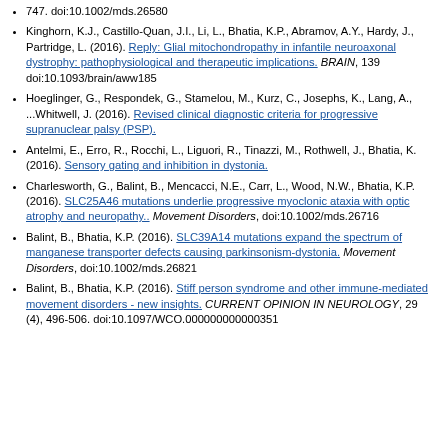747. doi:10.1002/mds.26580
Kinghorn, K.J., Castillo-Quan, J.I., Li, L., Bhatia, K.P., Abramov, A.Y., Hardy, J., Partridge, L. (2016). Reply: Glial mitochondropathy in infantile neuroaxonal dystrophy: pathophysiological and therapeutic implications. BRAIN, 139 doi:10.1093/brain/aww185
Hoeglinger, G., Respondek, G., Stamelou, M., Kurz, C., Josephs, K., Lang, A., ...Whitwell, J. (2016). Revised clinical diagnostic criteria for progressive supranuclear palsy (PSP).
Antelmi, E., Erro, R., Rocchi, L., Liguori, R., Tinazzi, M., Rothwell, J., Bhatia, K. (2016). Sensory gating and inhibition in dystonia.
Charlesworth, G., Balint, B., Mencacci, N.E., Carr, L., Wood, N.W., Bhatia, K.P. (2016). SLC25A46 mutations underlie progressive myoclonic ataxia with optic atrophy and neuropathy.. Movement Disorders, doi:10.1002/mds.26716
Balint, B., Bhatia, K.P. (2016). SLC39A14 mutations expand the spectrum of manganese transporter defects causing parkinsonism-dystonia. Movement Disorders, doi:10.1002/mds.26821
Balint, B., Bhatia, K.P. (2016). Stiff person syndrome and other immune-mediated movement disorders - new insights. CURRENT OPINION IN NEUROLOGY, 29 (4), 496-506. doi:10.1097/WCO.000000000000351